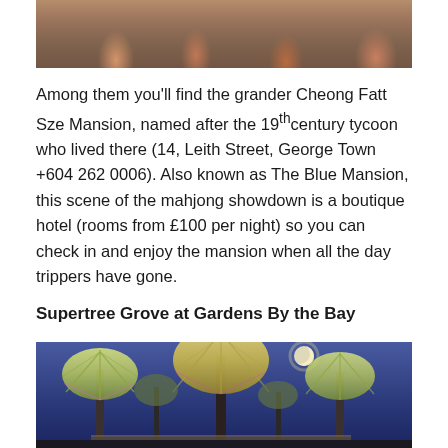[Figure (photo): People seated at tables, likely inside a heritage mansion, mahjong scene]
Among them you'll find the grander Cheong Fatt Sze Mansion, named after the 19th century tycoon who lived there (14, Leith Street, George Town +604 262 0006). Also known as The Blue Mansion, this scene of the mahjong showdown is a boutique hotel (rooms from £100 per night) so you can check in and enjoy the mansion when all the day trippers have gone.
Supertree Grove at Gardens By the Bay
[Figure (photo): Supertree Grove at Gardens by the Bay, Singapore, illuminated at night against a blue twilight sky with a full moon]